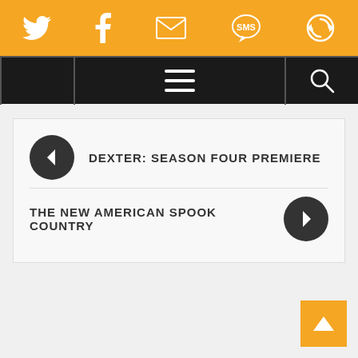[Figure (infographic): Orange top navigation bar with social media icons: Twitter, Facebook, Email/envelope, SMS, and a circular arrow/refresh icon, all in white on orange background]
[Figure (infographic): Black navigation bar with hamburger menu icon in center and magnifying glass search icon on right]
DEXTER: SEASON FOUR PREMIERE
THE NEW AMERICAN SPOOK COUNTRY
[Figure (infographic): Orange back-to-top button with upward chevron arrow in bottom right corner]